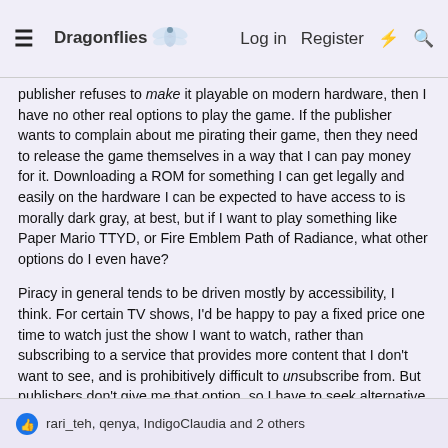Dragonflies — Log in  Register
publisher refuses to make it playable on modern hardware, then I have no other real options to play the game. If the publisher wants to complain about me pirating their game, then they need to release the game themselves in a way that I can pay money for it. Downloading a ROM for something I can get legally and easily on the hardware I can be expected to have access to is morally dark gray, at best, but if I want to play something like Paper Mario TTYD, or Fire Emblem Path of Radiance, what other options do I even have?
Piracy in general tends to be driven mostly by accessibility, I think. For certain TV shows, I'd be happy to pay a fixed price one time to watch just the show I want to watch, rather than subscribing to a service that provides more content that I don't want to see, and is prohibitively difficult to unsubscribe from. But publishers don't give me that option, so I have to seek alternative sources for the things I want to see.
rari_teh, qenya, IndigoClaudia and 2 others